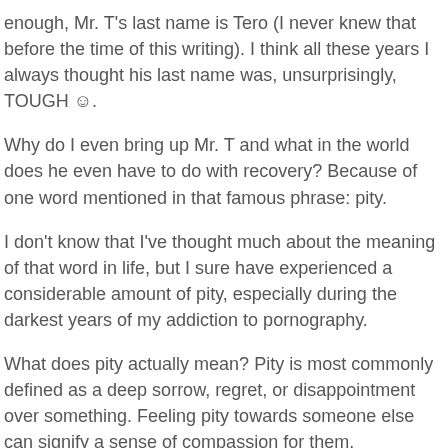enough, Mr. T's last name is Tero (I never knew that before the time of this writing). I think all these years I always thought his last name was, unsurprisingly, TOUGH ☺.
Why do I even bring up Mr. T and what in the world does he even have to do with recovery? Because of one word mentioned in that famous phrase: pity.
I don't know that I've thought much about the meaning of that word in life, but I sure have experienced a considerable amount of pity, especially during the darkest years of my addiction to pornography.
What does pity actually mean? Pity is most commonly defined as a deep sorrow, regret, or disappointment over something. Feeling pity towards someone else can signify a sense of compassion for them.
The kind of pity I wanted to focus on in this post is most